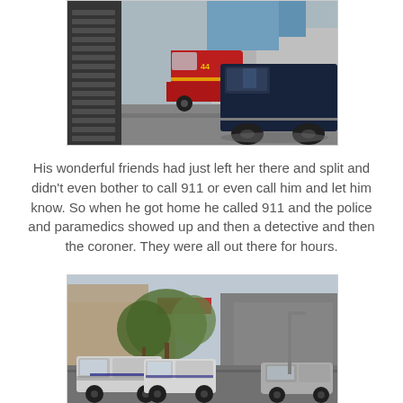[Figure (photo): Street scene with a red fire truck in the background and a dark navy blue van/minivan in the foreground, taken from inside or beside a building with louvred vents visible on the left.]
His wonderful friends had just left her there and split and didn't even bother to call 911 or even call him and let him know. So when he got home he called 911 and the police and paramedics showed up and then a detective and then the coroner. They were all out there for hours.
[Figure (photo): Outdoor parking lot or street scene with police cars parked, trees and buildings in the background, taken on a sunny day.]